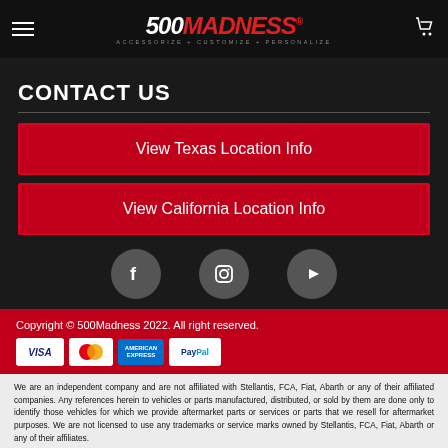500MADNESS - ACCESSORIZE + CUSTOMIZE + PERSONALIZE
CONTACT US
View Texas Location Info
View California Location Info
[Figure (illustration): Social media icons: Facebook, Instagram, YouTube]
Copyright © 500Madness 2022. All right reserved.
[Figure (illustration): Payment method icons: VISA, Mastercard, American Express, PayPal]
We are an independent company and are not affiliated with Stellantis, FCA, Fiat, Abarth or any of their affiliated companies. Any references herein to vehicles or parts manufactured, distributed, or sold by them are done only to identify those vehicles for which we provide aftermarket parts or services or parts that we resell for aftermarket purposes. We are not licensed to use any trademarks or service marks owned by Stellantis, FCA, Fiat, Abarth or any of their affiliates.